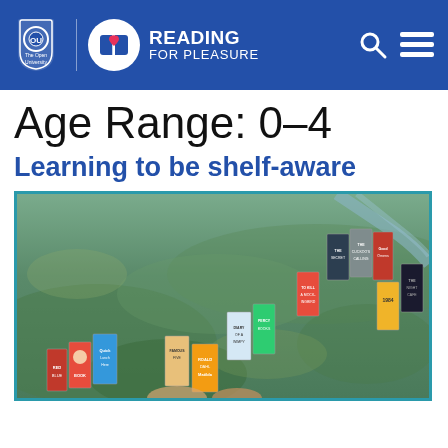The Open University | Reading for Pleasure
Age Range: 0-4
Learning to be shelf-aware
[Figure (photo): Aerial landscape photo with a staircase arrangement of book covers overlaid, including children's books at the bottom-left and adult books toward the top-right. Book titles visible include Roald Dahl Matilda, Famous Five, Quick, 1984, The Cuckoo's Calling, Good Omens, and others.]